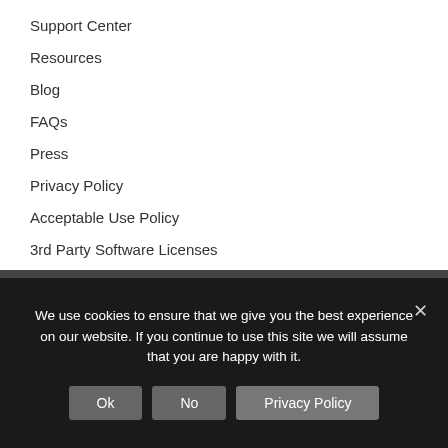Support Center
Resources
Blog
FAQs
Press
Privacy Policy
Acceptable Use Policy
3rd Party Software Licenses
Contact Us.
We use cookies to ensure that we give you the best experience on our website. If you continue to use this site we will assume that you are happy with it.
Ok  No  Privacy Policy